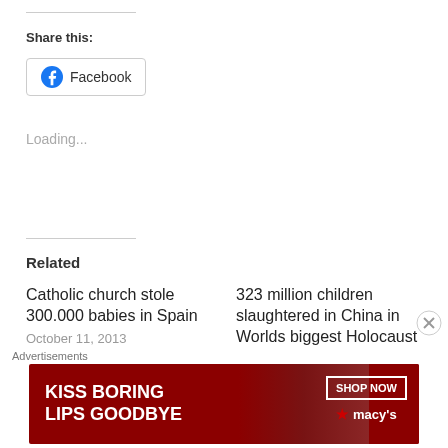Share this:
[Figure (other): Facebook share button with Facebook logo icon]
Loading...
Related
Catholic church stole 300.000 babies in Spain
October 11, 2013
In "endtimes"
323 million children slaughtered in China in Worlds biggest Holocaust
March 14, 2013
In "endtimes"
[Figure (photo): Macy's advertisement banner: KISS BORING LIPS GOODBYE with SHOP NOW button and Macy's logo, woman's face with red lipstick]